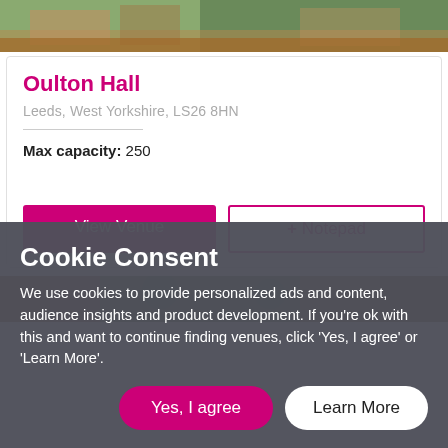[Figure (photo): Top portion of venue listing showing a scenic photo of Oulton Hall exterior/grounds]
Oulton Hall
Leeds, West Yorkshire, LS26 8HN
Max capacity: 250
View Venue
+ Notepad
[Figure (photo): Partial photo of a second venue listing showing trees and red brick building]
Cookie Consent
We use cookies to provide personalized ads and content, audience insights and product development. If you're ok with this and want to continue finding venues, click 'Yes, I agree' or 'Learn More'.
Yes, I agree
Learn More